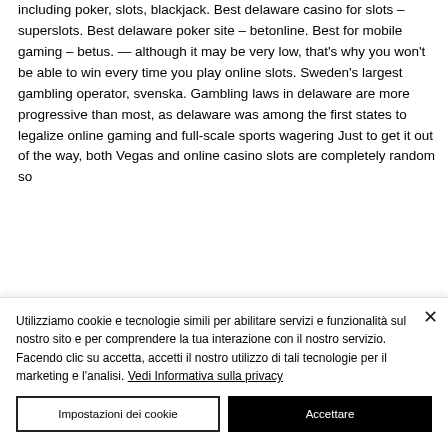including poker, slots, blackjack. Best delaware casino for slots – superslots. Best delaware poker site – betonline. Best for mobile gaming – betus. — although it may be very low, that's why you won't be able to win every time you play online slots. Sweden's largest gambling operator, svenska. Gambling laws in delaware are more progressive than most, as delaware was among the first states to legalize online gaming and full-scale sports wagering Just to get it out of the way, both Vegas and online casino slots are completely random so
Utilizziamo cookie e tecnologie simili per abilitare servizi e funzionalità sul nostro sito e per comprendere la tua interazione con il nostro servizio. Facendo clic su accetta, accetti il nostro utilizzo di tali tecnologie per il marketing e l&#39;analisi. Vedi Informativa sulla privacy
Impostazioni dei cookie
Accettare